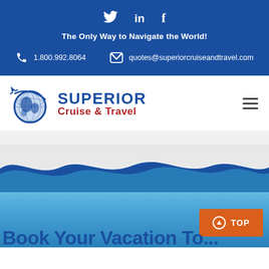[Figure (logo): Social media icons: Twitter, LinkedIn, Facebook on blue background]
The Only Way to Navigate the World!
1.800.992.8064
quotes@superiorcruiseandtravel.com
[Figure (logo): Superior Cruise & Travel logo with globe and airplane icon]
[Figure (illustration): Ocean wave illustration with blue sky and water]
Book Your Vacation Today